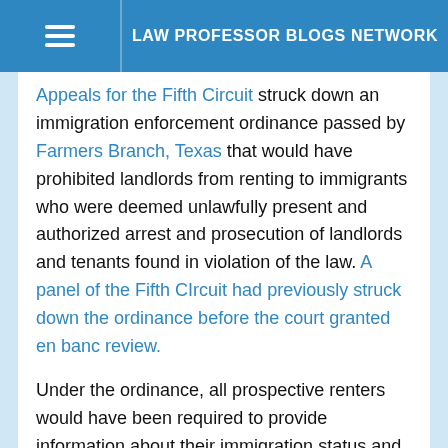LAW PROFESSOR BLOGS NETWORK
Appeals for the Fifth Circuit struck down an immigration enforcement ordinance passed by Farmers Branch, Texas that would have prohibited landlords from renting to immigrants who were deemed unlawfully present and authorized arrest and prosecution of landlords and tenants found in violation of the law. A panel of the Fifth CIrcuit had previously struck down the ordinance before the court granted en banc review.
Under the ordinance, all prospective renters would have been required to provide information about their immigration status and obtain a rental license from the city building inspector, who would be responsible for determining immigration status. The ordinance was never allowed to take effect, as federal courts have blocked its implementation